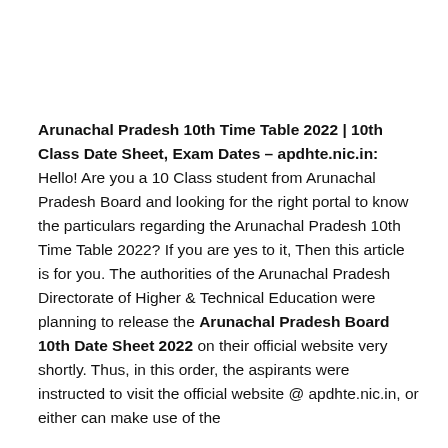Arunachal Pradesh 10th Time Table 2022 | 10th Class Date Sheet, Exam Dates – apdhte.nic.in: Hello! Are you a 10 Class student from Arunachal Pradesh Board and looking for the right portal to know the particulars regarding the Arunachal Pradesh 10th Time Table 2022? If you are yes to it, Then this article is for you. The authorities of the Arunachal Pradesh Directorate of Higher & Technical Education were planning to release the Arunachal Pradesh Board 10th Date Sheet 2022 on their official website very shortly. Thus, in this order, the aspirants were instructed to visit the official website @ apdhte.nic.in, or either can make use of the